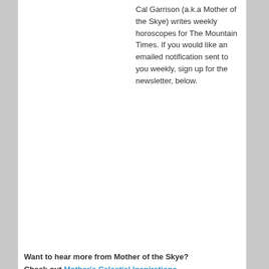Cal Garrison (a.k.a Mother of the Skye) writes weekly horoscopes for The Mountain Times. If you would like an emailed notification sent to you weekly, sign up for the newsletter, below.
Want to hear more from Mother of the Skye? Check out Mother's Celestial Inspirations
Horoscopes for October 29 – November 4, 2015
Aries